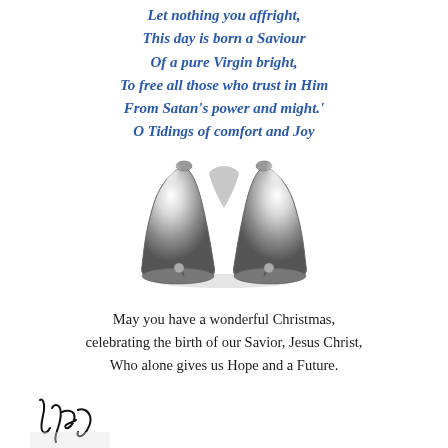Let nothing you affright,
This day is born a Saviour
Of a pure Virgin bright,
To free all those who trust in Him
From Satan's power and might.'
O Tidings of comfort and Joy
[Figure (illustration): Two silver/grey Christmas bells with shine at the top, small clappers hanging below, rendered in grayscale with a slight shadow beneath]
May you have a wonderful Christmas, celebrating the birth of our Savior, Jesus Christ, Who alone gives us Hope and a Future.
[Figure (photo): A handwritten signature reading 'Judy' in cursive ink]